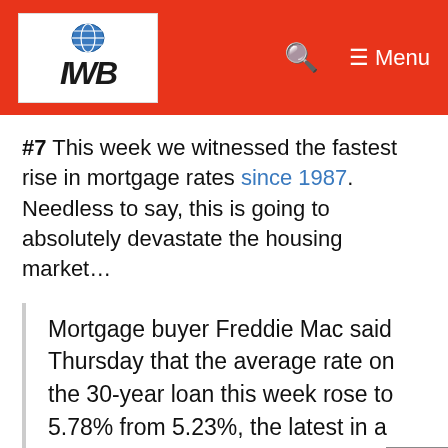IWB | Menu
#7 This week we witnessed the fastest rise in mortgage rates since 1987. Needless to say, this is going to absolutely devastate the housing market…
Mortgage buyer Freddie Mac said Thursday that the average rate on the 30-year loan this week rose to 5.78% from 5.23%, the latest in a series of rapid increases and the biggest